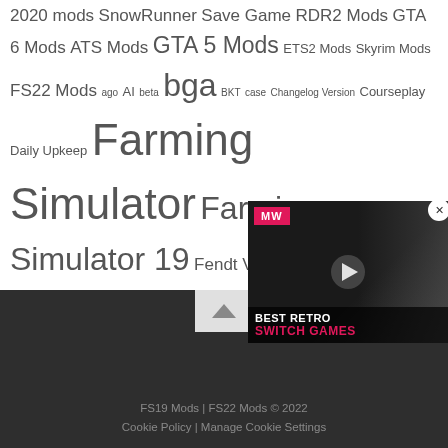2020 mods SnowRunner Save Game RDR2 Mods GTA 6 Mods ATS Mods GTA 5 Mods ETS2 Mods Skyrim Mods FS22 Mods ago AI beta bga BKT case Changelog Version Courseplay Daily Upkeep Farming Simulator Farming Simulator 19 Fendt Vario France FS FS 19 GC Global Company GPS HP IC John Deere LED LOG LS LS 19 Manure System Massey Ferguson Maximum Speed Max Speed MP Needed Power New Holland PC PDA PS PTO real life Required Mods Seasons mod Seasons Ready SP UDIM U...
[Figure (screenshot): Video ad overlay for 'Best Retro Switch Games' with MW logo, play button, and masked figure in background]
FS19 Mods | FS22 Mods © 2022
Cookie Policy | Manage Cookie Settings